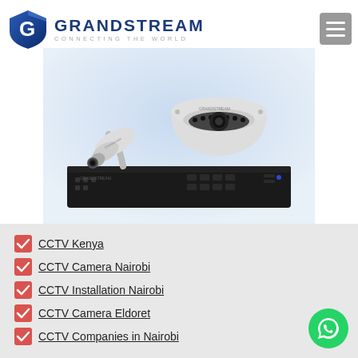[Figure (logo): Grandstream logo with shield icon, brand name GRANDSTREAM and tagline CONNECTING THE WORLD]
[Figure (photo): Grandstream CCTV security cameras (bullet and dome models) displayed on top of a black DVR/NVR recording unit]
CCTV Kenya
CCTV Camera Nairobi
CCTV Installation Nairobi
CCTV Camera Eldoret
CCTV Companies in Nairobi